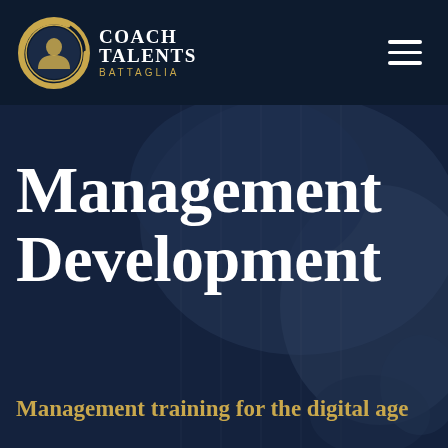[Figure (logo): Coach Talents Battaglia logo: gold circular emblem with silhouette profile, beside text COACH TALENTS in white bold, BATTAGLIA in gold small caps]
Management Development
Management training for the digital age